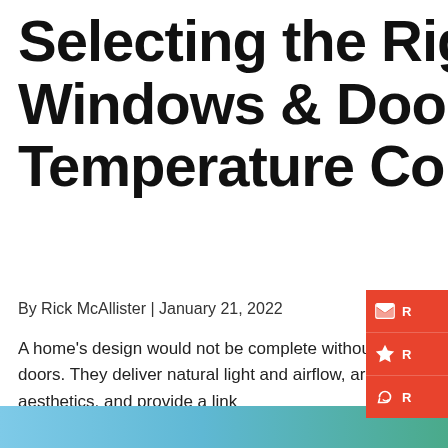Selecting the Right Windows & Doors For Temperature Control
By Rick McAllister | January 21, 2022
A home's design would not be complete without windows and doors. They deliver natural light and airflow, are conducive aesthetics, and provide a link
READ MORE
[Figure (screenshot): Google review card with 5 yellow stars, review text 'The whole crew is amazing. Quick efficient and clean. Could ... More', source 'York Mitsubishi']